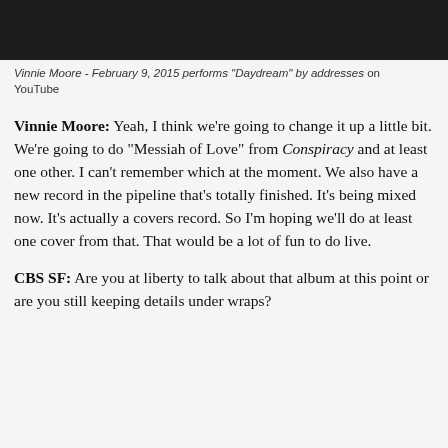[Figure (photo): Dark video still, likely outdoor scene, used as header image]
Vinnie Moore - February 9, 2015 performs "Daydream" by addresses on YouTube
Vinnie Moore: Yeah, I think we're going to change it up a little bit. We're going to do "Messiah of Love" from Conspiracy and at least one other. I can't remember which at the moment. We also have a new record in the pipeline that's totally finished. It's being mixed now. It's actually a covers record. So I'm hoping we'll do at least one cover from that. That would be a lot of fun to do live.
CBS SF: Are you at liberty to talk about that album at this point or are you still keeping details under wraps?